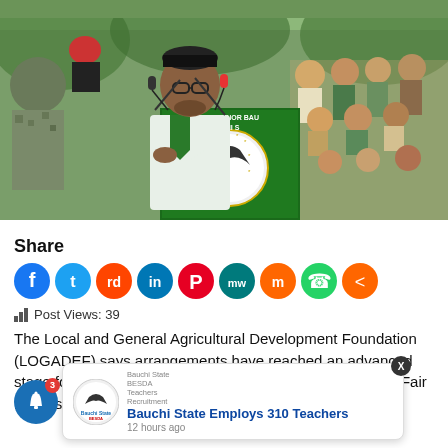[Figure (photo): A man in traditional Nigerian attire and glasses speaking at a podium labeled 'Governor Bauchi State', with security personnel and dignitaries in the background outdoors under a canopy.]
Share
[Figure (infographic): Row of social media share icons: Facebook (blue), Twitter (blue), Reddit (orange-red), LinkedIn (blue), Pinterest (red), MeWe (teal), Mix (orange), WhatsApp (green), Share (orange).]
Post Views: 39
The Local and General Agricultural Development Foundation (LOGADEF) says arrangements have reached an advanced stage for the 3rd Edition of the Local Agricultural Products Fair in the state.
[Figure (infographic): Notification popup showing Bauchi State BESDA Teachers Recruitment logo with headline 'Bauchi State Employs 310 Teachers' posted 12 hours ago, with a notification bell icon showing badge count 3 and a close (X) button.]